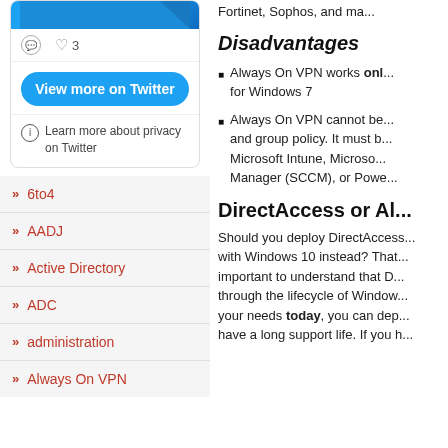[Figure (screenshot): Twitter widget showing image banner in blue, action icons (comment, heart with count 3), View more on Twitter button, and privacy notice]
» 6to4
» AADJ
» Active Directory
» ADC
» administration
» Always On VPN
Fortinet, Sophos, and ma...
Disadvantages
Always On VPN works onl... for Windows 7
Always On VPN cannot be... and group policy. It must b... Microsoft Intune, Microso... Manager (SCCM), or Powe...
DirectAccess or Al...
Should you deploy DirectAccess... with Windows 10 instead? That... important to understand that D... through the lifecycle of Window... your needs today, you can dep... have a long support life. If you h...